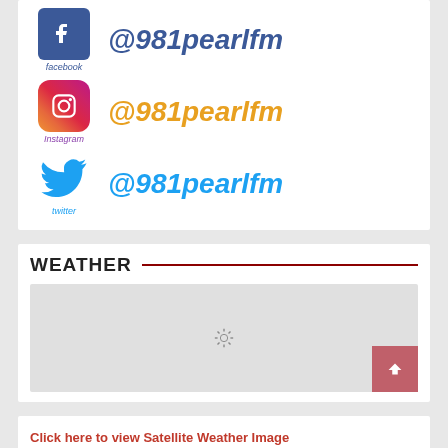[Figure (logo): Facebook logo icon with Facebook label, showing @981pearlfm handle in blue]
[Figure (logo): Instagram logo icon with Instagram label, showing @981pearlfm handle in gold/orange]
[Figure (logo): Twitter bird logo icon with twitter label, showing @981pearlfm handle in light blue]
WEATHER
[Figure (other): Weather widget loading spinner on grey background with scroll-to-top button]
Click here to view Satellite Weather Image